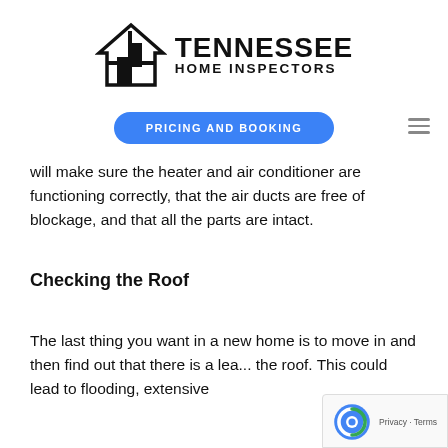[Figure (logo): Tennessee Home Inspectors logo with house/building icon and bold text]
[Figure (other): Blue rounded button labeled PRICING AND BOOKING with hamburger menu icon on the right]
will make sure the heater and air conditioner are functioning correctly, that the air ducts are free of blockage, and that all the parts are intact.
Checking the Roof
The last thing you want in a new home is to move in and then find out that there is a lea... the roof. This could lead to flooding, extensive